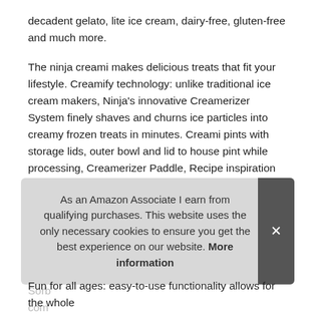decadent gelato, lite ice cream, dairy-free, gluten-free and much more.
The ninja creami makes delicious treats that fit your lifestyle. Creamify technology: unlike traditional ice cream makers, Ninja's innovative Creamerizer System finely shaves and churns ice particles into creamy frozen treats in minutes. Creami pints with storage lids, outer bowl and lid to house pint while processing, Creamerizer Paddle, Recipe inspiration guide with 30 recipes.7
More information #ad
7 ve... perf... Sorb... com...
As an Amazon Associate I earn from qualifying purchases. This website uses the only necessary cookies to ensure you get the best experience on our website. More information
Fun for all ages: easy-to-use functionality allows for the whole